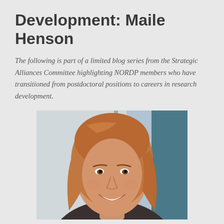Development: Maile Henson
The following is part of a limited blog series from the Strategic Alliances Committee highlighting NORDP members who have transitioned from postdoctoral positions to careers in research development.
[Figure (photo): Portrait photo of Maile Henson, a woman with wavy reddish-blonde hair, smiling broadly, photographed indoors near a window with a blue wall visible in the background.]